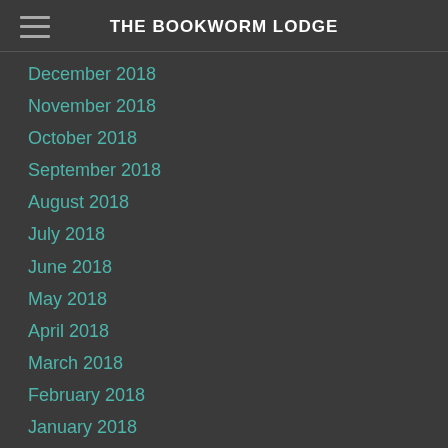THE BOOKWORM LODGE
December 2018
November 2018
October 2018
September 2018
August 2018
July 2018
June 2018
May 2018
April 2018
March 2018
February 2018
January 2018
December 2017
November 2017
October 2017
September 2017
August 2017